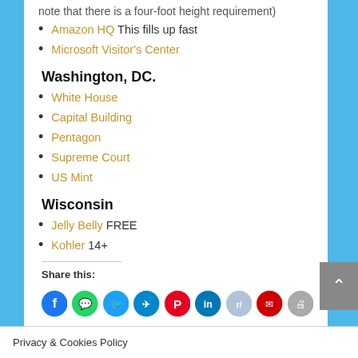note that there is a four-foot height requirement)
Amazon HQ This fills up fast
Microsoft Visitor's Center
Washington, DC.
White House
Capital Building
Pentagon
Supreme Court
US Mint
Wisconsin
Jelly Belly FREE
Kohler 14+
Share this:
[Figure (infographic): Row of social media share buttons: Facebook, WhatsApp, Twitter, Telegram, Pinterest, LinkedIn, Reddit, Email, Print]
Privacy & Cookies Policy